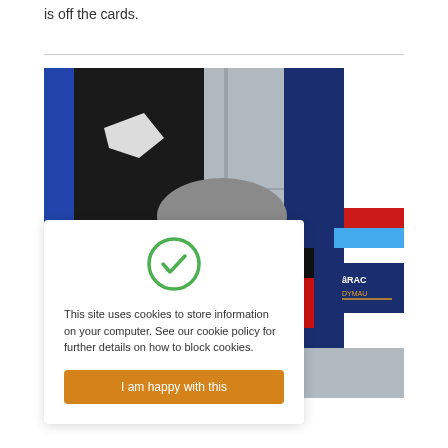is off the cards.
[Figure (photo): A man with short grey hair looking forward, wearing a dark shirt. Behind him are racing jackets including one with the Buildbase logo (red and black) and another blue and white racing jacket. The image is partially obscured by a cookie consent overlay.]
This site uses cookies to store information on your computer. See our cookie policy for further details on how to block cookies.
I am happy with this